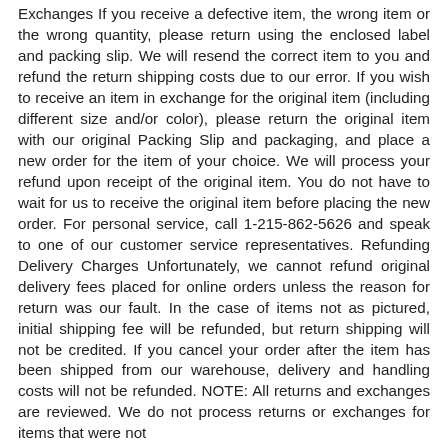Exchanges If you receive a defective item, the wrong item or the wrong quantity, please return using the enclosed label and packing slip. We will resend the correct item to you and refund the return shipping costs due to our error. If you wish to receive an item in exchange for the original item (including different size and/or color), please return the original item with our original Packing Slip and packaging, and place a new order for the item of your choice. We will process your refund upon receipt of the original item. You do not have to wait for us to receive the original item before placing the new order. For personal service, call 1-215-862-5626 and speak to one of our customer service representatives. Refunding Delivery Charges Unfortunately, we cannot refund original delivery fees placed for online orders unless the reason for return was our fault. In the case of items not as pictured, initial shipping fee will be refunded, but return shipping will not be credited. If you cancel your order after the item has been shipped from our warehouse, delivery and handling costs will not be refunded. NOTE: All returns and exchanges are reviewed. We do not process returns or exchanges for items that were not